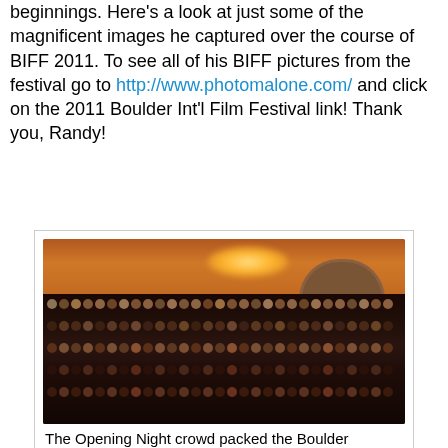beginnings. Here's a look at just some of the magnificent images he captured over the course of BIFF 2011. To see all of his BIFF pictures from the festival go to http://www.photomalone.com/ and click on the 2011 Boulder Int'l Film Festival link! Thank you, Randy!
[Figure (photo): A packed theater audience at the Boulder Theater during the Opening Night of the Boulder International Film Festival 2011. The image shows rows of audience members filling the seats, with warm amber/orange lighting illuminating the ornate theater ceiling and an arched architectural feature on the right side.]
The Opening Night crowd packed the Boulder Theater.